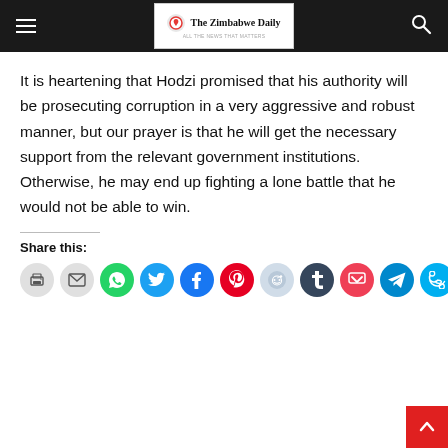The Zimbabwe Daily
It is heartening that Hodzi promised that his authority will be prosecuting corruption in a very aggressive and robust manner, but our prayer is that he will get the necessary support from the relevant government institutions. Otherwise, he may end up fighting a lone battle that he would not be able to win.
Share this: